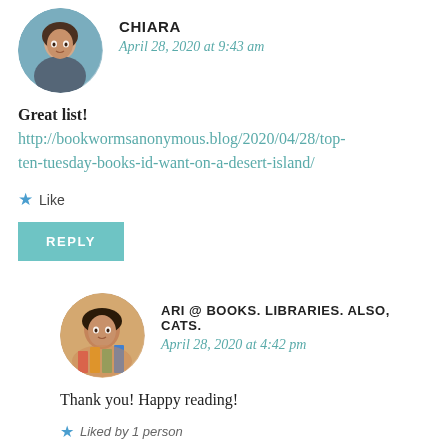[Figure (photo): Circular avatar photo of Chiara, a young woman outdoors]
CHIARA
April 28, 2020 at 9:43 am
Great list!
http://bookwormsanonymous.blog/2020/04/28/top-ten-tuesday-books-id-want-on-a-desert-island/
★ Like
REPLY
[Figure (photo): Circular avatar photo of Ari, holding a stack of colorful books]
ARI @ BOOKS. LIBRARIES. ALSO, CATS.
April 28, 2020 at 4:42 pm
Thank you! Happy reading!
★ Liked by 1 person